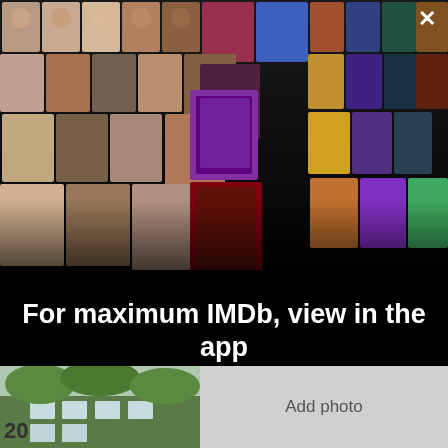[Figure (photo): Collage of celebrity headshots and movie posters arranged in a 3D fan/wall perspective on a dark background. Left side shows actor/actress headshots, right side shows movie posters.]
For maximum IMDb, view in the app
Get the app
[Figure (photo): Partial photo of a building exterior with green foliage, showing number 20]
Add photo